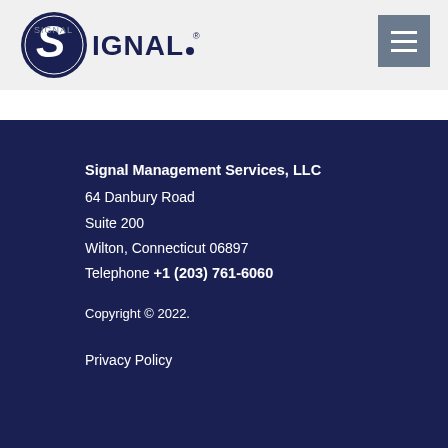[Figure (logo): Signal logo — circular emblem with stylized S and IGNAL text, dark navy blue]
[Figure (other): Hamburger menu button — grey square with three white horizontal lines]
Signal Management Services, LLC
64 Danbury Road
Suite 200
Wilton, Connecticut 06897
Telephone +1 (203) 761-6060
Copyright © 2022.
Privacy Policy